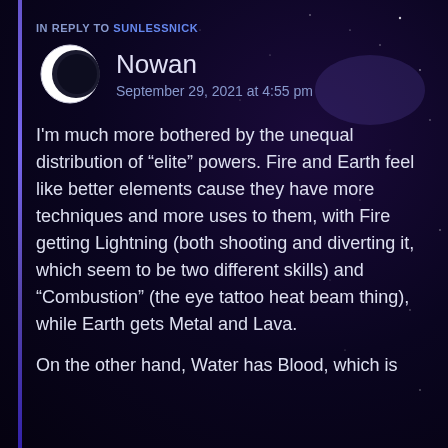IN REPLY TO SUNLESSNICK
Nowan
September 29, 2021 at 4:55 pm
I'm much more bothered by the unequal distribution of “elite” powers. Fire and Earth feel like better elements cause they have more techniques and more uses to them, with Fire getting Lightning (both shooting and diverting it, which seem to be two different skills) and “Combustion” (the eye tattoo heat beam thing), while Earth gets Metal and Lava.
On the other hand, Water has Blood, which is